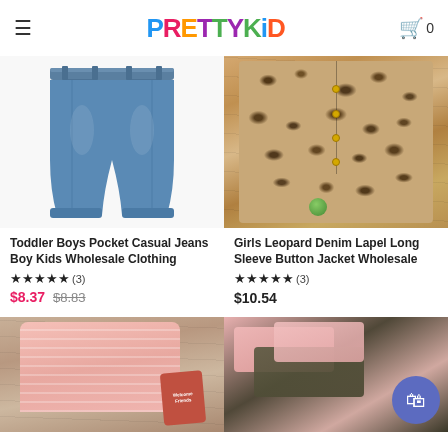PrettyKid — navigation header with hamburger menu and cart (0 items)
[Figure (photo): Toddler boys blue denim casual jeans product photo on white background]
Toddler Boys Pocket Casual Jeans Boy Kids Wholesale Clothing
★★★★★ (3)
$8.37  $8.83
[Figure (photo): Girls leopard denim lapel long sleeve button jacket product photo on wooden surface]
Girls Leopard Denim Lapel Long Sleeve Button Jacket Wholesale
★★★★★ (3)
$10.54
[Figure (photo): Pink striped girls garment product photo on wooden surface]
[Figure (photo): Folded children clothing in pink and olive/dark colors]